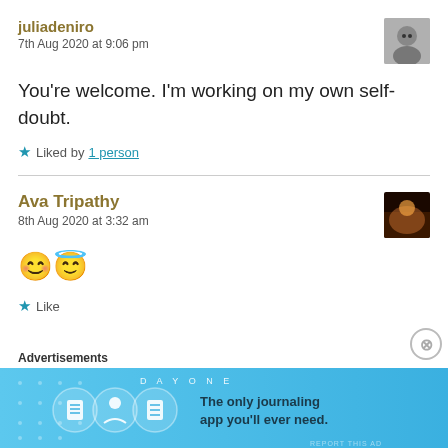juliadeniro
7th Aug 2020 at 9:06 pm
You're welcome. I'm working on my own self-doubt.
★ Liked by 1 person
Ava Tripathy
8th Aug 2020 at 3:32 am
😊😇
★ Like
Advertisements
[Figure (infographic): DAY ONE journaling app advertisement banner with icons and text 'The only journaling app you'll ever need.']